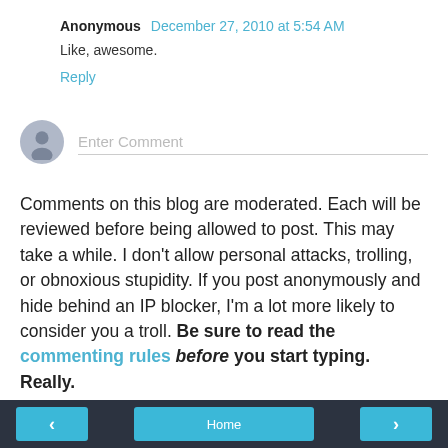Anonymous December 27, 2010 at 5:54 AM
Like, awesome.
Reply
[Figure (illustration): User avatar placeholder icon — circular grey icon with silhouette figure]
Enter Comment
Comments on this blog are moderated. Each will be reviewed before being allowed to post. This may take a while. I don't allow personal attacks, trolling, or obnoxious stupidity. If you post anonymously and hide behind an IP blocker, I'm a lot more likely to consider you a troll. Be sure to read the commenting rules before you start typing. Really.
Home